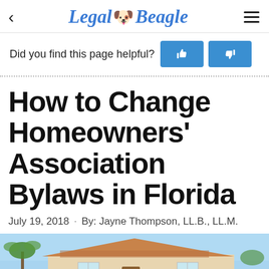Legal Beagle
Did you find this page helpful?
How to Change Homeowners' Association Bylaws in Florida
July 19, 2018 · By: Jayne Thompson, LL.B., LL.M.
[Figure (photo): Photo of a Florida house with tile roof and palm trees under a blue sky]